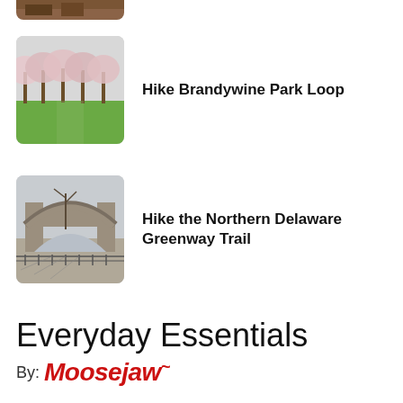[Figure (photo): Partial thumbnail of a hiking or outdoor scene, cropped at top]
[Figure (photo): Cherry blossom trees lining a green lawn in a park]
Hike Brandywine Park Loop
[Figure (photo): Stone archway bridge with bare winter trees and shadows on ground]
Hike the Northern Delaware Greenway Trail
Everyday Essentials
By: Moosejaw